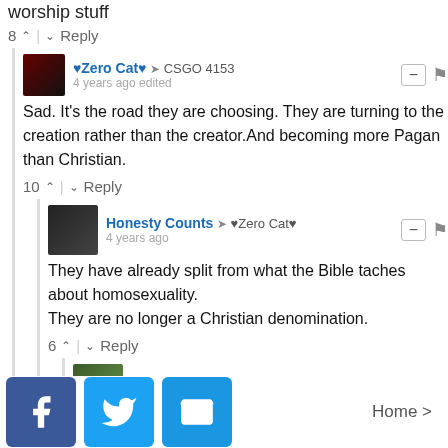worship stuff
8 ∧ | ∨ Reply
♥Zero Cat♥ → CSGO 4153
4 years ago edited
Sad. It's the road they are choosing. They are turning to the creation rather than the creator.And becoming more Pagan than Christian.
10 ∧ | ∨ Reply
Honesty Counts → ♥Zero Cat♥
4 years ago
They have already split from what the Bible taches about homosexuality.
They are no longer a Christian denomination.
6 ∧ | ∨ Reply
Croquet_Player → Honesty Counts
4 years ago
Home >